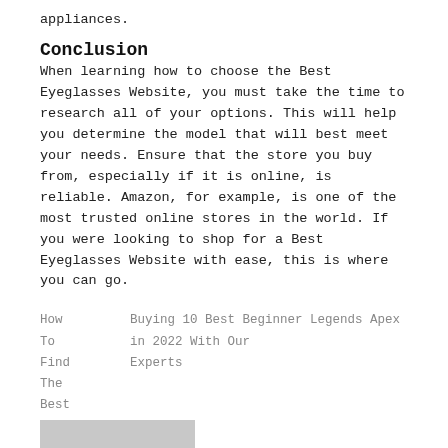appliances.
Conclusion
When learning how to choose the Best Eyeglasses Website, you must take the time to research all of your options. This will help you determine the model that will best meet your needs. Ensure that the store you buy from, especially if it is online, is reliable. Amazon, for example, is one of the most trusted online stores in the world. If you were looking to shop for a Best Eyeglasses Website with ease, this is where you can go.
How To Find The Best Donuts Maui?
Buying 10 Best Beginner Legends Apex in 2022 With Our Experts
[Figure (other): Grey rectangle image placeholder at bottom of page]